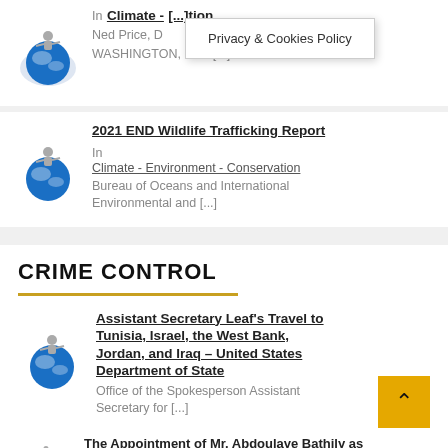In Climate - [...]ion | Ned Price, [...] in WASHINGTON, D.C. [...]
[Figure (screenshot): Privacy & Cookies Policy popup overlay]
2021 END Wildlife Trafficking Report | In Climate - Environment - Conservation | Bureau of Oceans and International Environmental and [...]
CRIME CONTROL
Assistant Secretary Leaf's Travel to Tunisia, Israel, the West Bank, Jordan, and Iraq – United States Department of State | Office of the Spokesperson Assistant Secretary for [...]
The Appointment of Mr. Abdoulaye Bathily as...